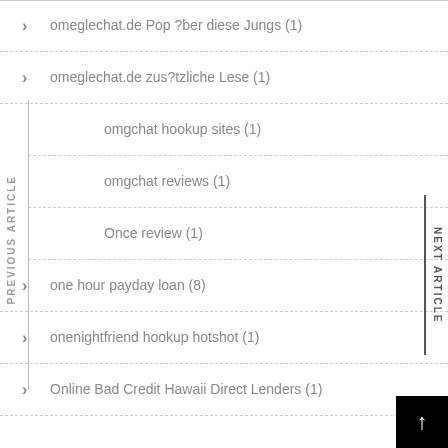omeglechat.de Pop ?ber diese Jungs (1)
omeglechat.de zus?tzliche Lese (1)
omgchat hookup sites (1)
omgchat reviews (1)
Once review (1)
one hour payday loan (8)
onenightfriend hookup hotshot (1)
Online Bad Credit Hawaii Direct Lenders (1)